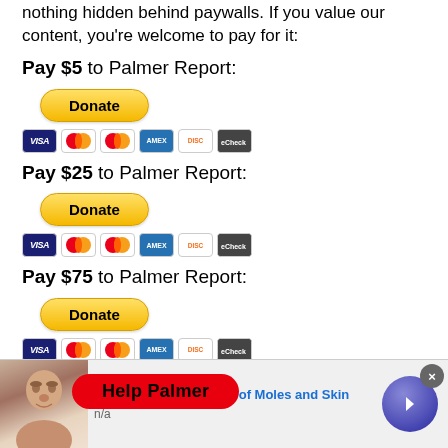nothing hidden behind paywalls. If you value our content, you're welcome to pay for it:
Pay $5 to Palmer Report:
[Figure (other): PayPal Donate button (yellow rounded pill) and credit card icons row (Visa, Mastercard, Mastercard, American Express, Discover, other)]
Pay $25 to Palmer Report:
[Figure (other): PayPal Donate button (yellow rounded pill) and credit card icons row]
Pay $75 to Palmer Report:
[Figure (other): PayPal Donate button (yellow rounded pill) and credit card icons row]
Sign up  List.
[Figure (other): Red rounded rectangle overlay badge saying 'Help Palmer']
[Figure (other): Social share buttons row: Facebook, Twitter, Email, and partial 'Report' text]
[Figure (other): Advertisement bar: photo of person's face, headline 'Easiest Way to Get Rid of Moles and Skin', subtext 'n/a', close button, and navigation arrow button]